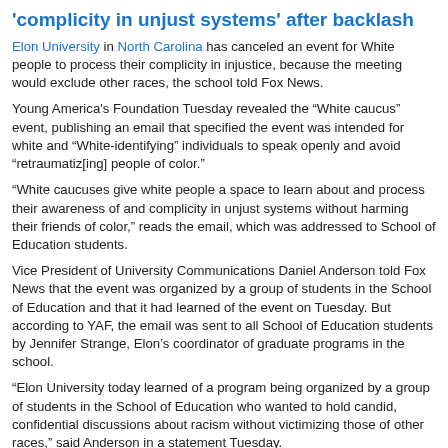'complicity in unjust systems' after backlash
Elon University in North Carolina has canceled an event for White people to process their complicity in injustice, because the meeting would exclude other races, the school told Fox News.
Young America's Foundation Tuesday revealed the “White caucus” event, publishing an email that specified the event was intended for white and “White-identifying” individuals to speak openly and avoid “retraumatiz[ing] people of color.”
“White caucuses give white people a space to learn about and process their awareness of and complicity in unjust systems without harming their friends of color,” reads the email, which was addressed to School of Education students.
Vice President of University Communications Daniel Anderson told Fox News that the event was organized by a group of students in the School of Education and that it had learned of the event on Tuesday. But according to YAF, the email was sent to all School of Education students by Jennifer Strange, Elon’s coordinator of graduate programs in the school.
“Elon University today learned of a program being organized by a group of students in the School of Education who wanted to hold candid, confidential discussions about racism without victimizing those of other races,” said Anderson in a statement Tuesday.
The incident was just the latest to stir controversy over racialized events that took place in academia and government entities. In September, the University of Michigan-Dearborn similarly advertised an event that prompted accusations of segregation. Like the group at Elon, the University of Michigan similarly expressed concern about White people harming non-White people. It also clarified that the events weren’t intended to exclude certain races.
•••